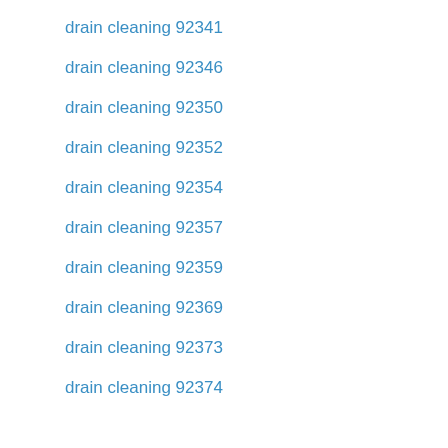drain cleaning 92341
drain cleaning 92346
drain cleaning 92350
drain cleaning 92352
drain cleaning 92354
drain cleaning 92357
drain cleaning 92359
drain cleaning 92369
drain cleaning 92373
drain cleaning 92374